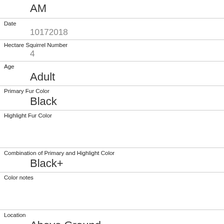AM
Date
10172018
Hectare Squirrel Number
4
Age
Adult
Primary Fur Color
Black
Highlight Fur Color
Combination of Primary and Highlight Color
Black+
Color notes
Location
Above Ground
Above Ground Sighter Measurement
5
Specific Location